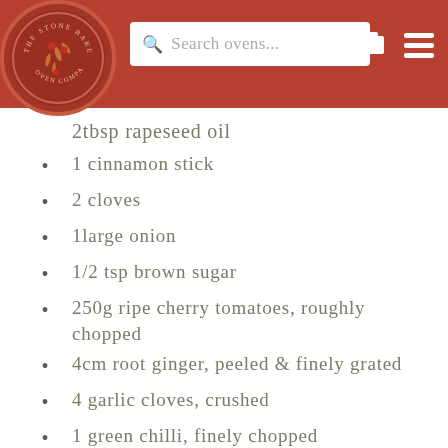The Stone Bake Oven Company — Search ovens...
2tbsp rapeseed oil
1 cinnamon stick
2 cloves
1large onion
1/2 tsp brown sugar
250g ripe cherry tomatoes, roughly chopped
4cm root ginger, peeled & finely grated
4 garlic cloves, crushed
1 green chilli, finely chopped
1/4 tsp garam masala
1tsp ground cumin